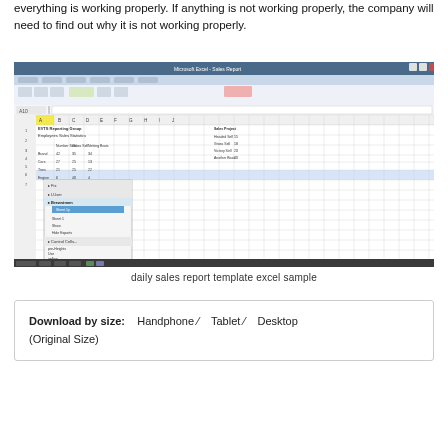everything is working properly. If anything is not working properly, the company will need to find out why it is not working properly.
[Figure (screenshot): Screenshot of a Microsoft Excel spreadsheet showing a daily sales report template with data in rows and columns, including a context menu open on the left side.]
daily sales report template excel sample
Download by size: Handphone / Tablet / Desktop (Original Size)